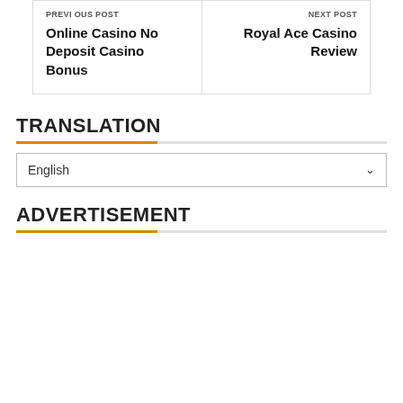PREVIOUS POST
Online Casino No Deposit Casino Bonus
NEXT POST
Royal Ace Casino Review
TRANSLATION
English
ADVERTISEMENT